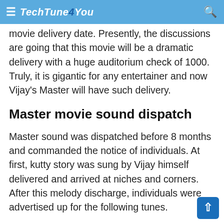≡ TechTune4You 🔍
movie delivery date. Presently, the discussions are going that this movie will be a dramatic delivery with a huge auditorium check of 1000. Truly, it is gigantic for any entertainer and now Vijay's Master will have such delivery.
Master movie sound dispatch
Master sound was dispatched before 8 months and commanded the notice of individuals. At first, kutty story was sung by Vijay himself delivered and arrived at niches and corners. After this melody discharge, individuals were advertised up for the following tunes.
When the dispatch was done, a portion of the melodies like Quit Pannuda, Vaathi coming and Vaathi strike was good to go to cut the rooftop down. In general, the Master Album picked up enormous fame among the individuals during this pandemic. We should need to trust that the